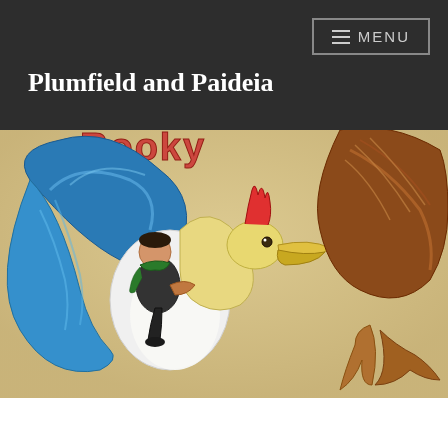≡ MENU
Plumfield and Paideia
[Figure (illustration): Colorful illustration of a child riding a large blue bird (resembling a rooster/phoenix) in flight, with spread blue wings, a red crest, and a yellow beak. On the right side, the brown wing and claw of a larger bird is visible. Background is sandy/tan colored with partial title text at top. The child has dark hair and wears a green scarf.]